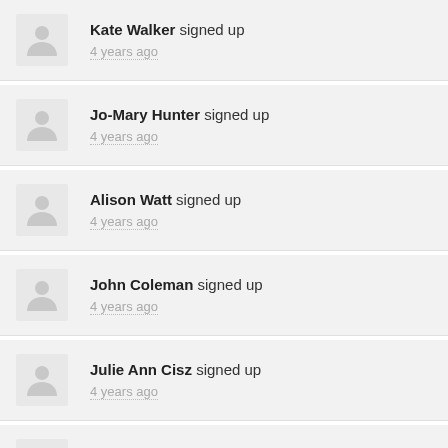Kate Walker signed up — 4 years ago
Jo-Mary Hunter signed up — 4 years ago
Alison Watt signed up — 4 years ago
John Coleman signed up — 4 years ago
Julie Ann Cisz signed up — 4 years ago
frances Logan signed up — 4 years ago